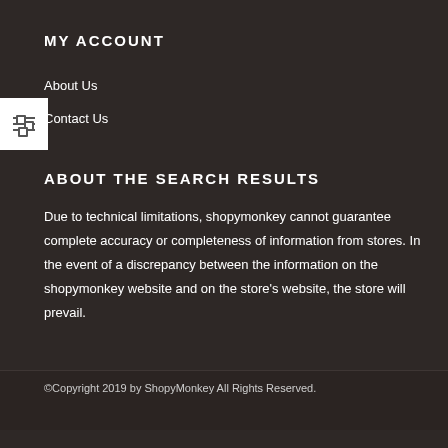MY ACCOUNT
About Us
Contact Us
ABOUT THE SEARCH RESULTS
Due to technical limitations, shopymonkey cannot guarantee complete accuracy or completeness of information from stores. In the event of a discrepancy between the information on the shopymonkey website and on the store’s website, the store will prevail.
©Copyright 2019 by ShopyMonkey All Rights Reserved.